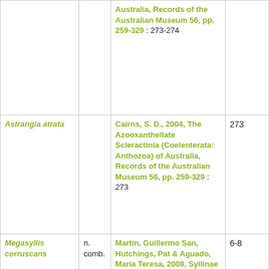| Species | Status | Reference | Page |
| --- | --- | --- | --- |
|  |  | Australia, Records of the Australian Museum 56, pp. 259-329 : 273-274 |  |
| Astrangia atrata |  | Cairns, S. D., 2004, The Azooxanthellate Scleractinia (Coelenterata: Anthozoa) of Australia, Records of the Australian Museum 56, pp. 259-329 : 273 | 273 |
| Megasyllis corruscans | n. comb. | Martín, Guillermo San, Hutchings, Pat & Aguado, María Teresa, 2008, Syllinae (Polychaeta, Syllidae) from Australia. Part. 2. | 6-8 |